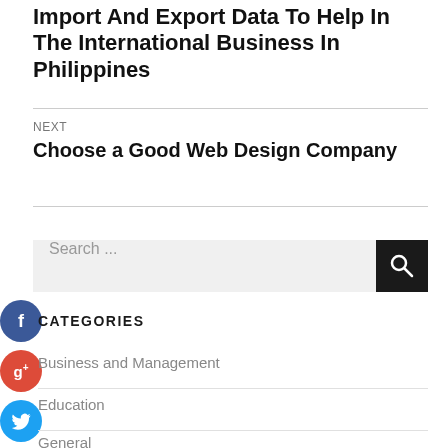Import And Export Data To Help In The International Business In Philippines
NEXT
Choose a Good Web Design Company
Search ...
[Figure (illustration): Social media icons: Facebook (blue circle with f), Google+ (red circle with g+), Twitter (blue circle with bird), Plus (dark circle with +)]
CATEGORIES
Business and Management
Education
General